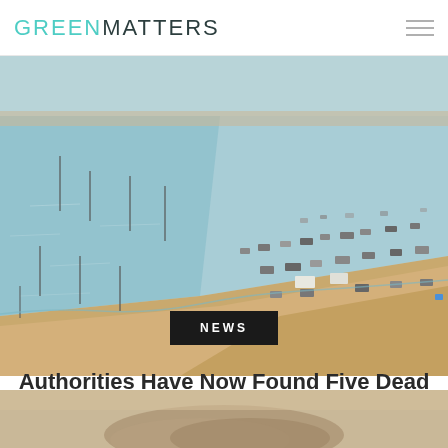GREEN MATTERS
[Figure (photo): Aerial or wide-angle view of Lake Mead showing low water levels — pale blue water on the left and a wide sandy/rocky exposed lakebed shore on the right, with numerous vehicles and people scattered along the shoreline.]
NEWS
Authorities Have Now Found Five Dead Bodies in Lake Mead, Amid Ongo...
[Figure (photo): Close-up of rocky, sandy exposed lakebed or shoreline at Lake Mead — tan/beige rocky terrain partially visible at the bottom of the frame.]